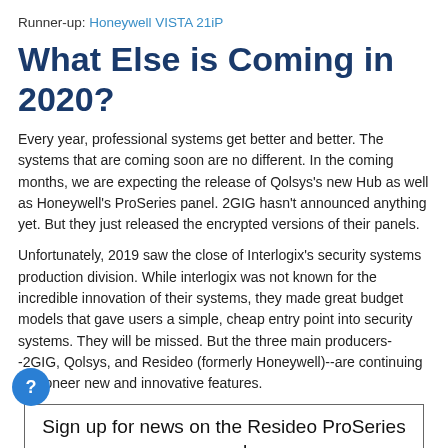Runner-up: Honeywell VISTA 21iP
What Else is Coming in 2020?
Every year, professional systems get better and better. The systems that are coming soon are no different. In the coming months, we are expecting the release of Qolsys's new Hub as well as Honeywell's ProSeries panel. 2GIG hasn't announced anything yet. But they just released the encrypted versions of their panels.
Unfortunately, 2019 saw the close of Interlogix's security systems production division. While interlogix was not known for the incredible innovation of their systems, they made great budget models that gave users a simple, cheap entry point into security systems. They will be missed. But the three main producers--2GIG, Qolsys, and Resideo (formerly Honeywell)--are continuing to pioneer new and innovative features.
Sign up for news on the Resideo ProSeries panel